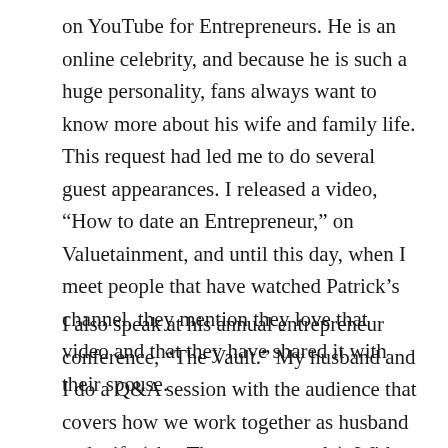on YouTube for Entrepreneurs. He is an online celebrity, and because he is such a huge personality, fans always want to know more about his wife and family life. This request had led me to do several guest appearances. I released a video, “How to date an Entrepreneur,” on Valuetainment, and until this day, when I meet people that have watched Patrick’s channel, they mention they love that video and that they have shared it with their spouse.
I also speak at his annual entrepreneur conference, “The Vault.” My husband and I do a Q&A session with the audience that covers how we work together as husband and wife (aka, The power couple). With me being a MOM, the wives always